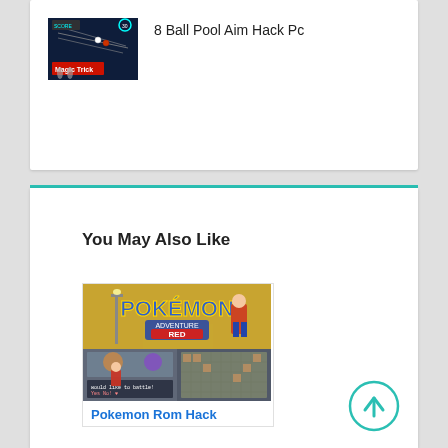[Figure (screenshot): Thumbnail image for '8 Ball Pool Aim Hack Pc' showing a pool table game with 'Magic Trick' text overlay]
8 Ball Pool Aim Hack Pc
You May Also Like
[Figure (screenshot): Pokemon Adventure Red game screenshot showing Pokemon title screen and gameplay scenes]
Pokemon Rom Hack